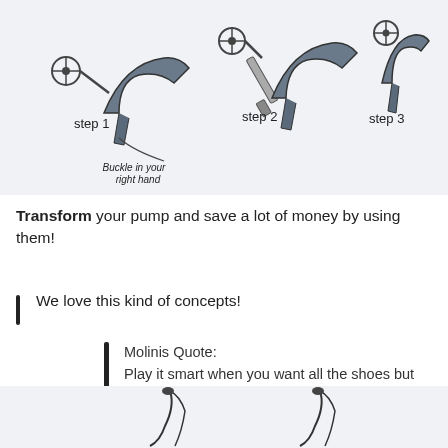[Figure (illustration): Three-step instructional diagram showing how to use a shoe buckle accessory on a high-heel pump. Step 1 shows the buckle tool and shoe separately with annotation 'Buckle in your right hand'. Step 2 shows the tool being applied to the shoe. Step 3 shows the finished result on the shoe.]
Transform your pump and save a lot of money by using them!
We love this kind of concepts!
Molinis Quote:
Play it smart when you want all the shoes but work with a budget to go travel and spend money on quality time with the ones who truly matter, cause Love and Experiences is what truly matters
[Figure (illustration): Bottom portion of another instructional diagram showing shoe accessories, partially cropped.]